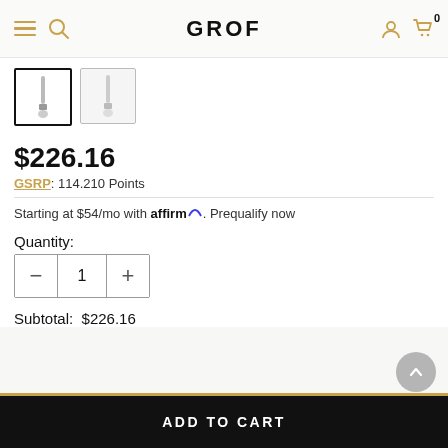GROF — Navigation header with hamburger menu, search, user icon, cart (0)
[Figure (photo): Two product thumbnail images of a faucet/tap handle. First thumbnail selected with black border, second with light gray border.]
$226.16
GSRP: 114.210 Points
Starting at $54/mo with affirm. Prequalify now
Quantity:
Subtotal: $226.16
ADD TO CART